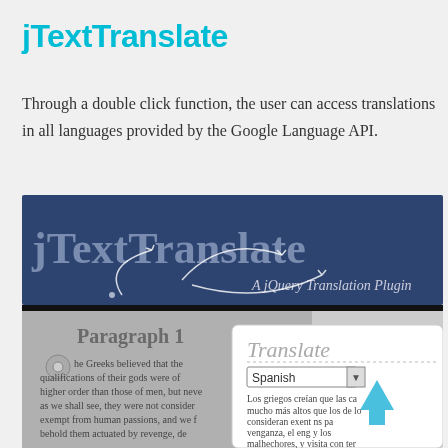jTextTranslate
Through a double click function, the user can access translations in all languages provided by the Google Language API.
[Figure (screenshot): Screenshot of jTextTranslate jQuery plugin showing the plugin header with a dark blue background and text 'jTextTranslate - A jQuery Translation Plugin', below that a gray content area showing 'Paragraph 1' with Greek mythology text, and a white popup showing a 'Translate' dialog with a Spanish dropdown and translated Spanish text.]